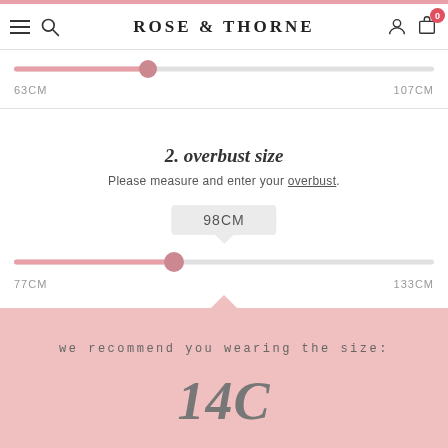ROSE & THORNE
63CM — 107CM (slider at approx 32%)
2. overbust size
Please measure and enter your overbust.
98CM
77CM — 133CM (slider at approx 38%)
we recommend you wearing the size:
14C